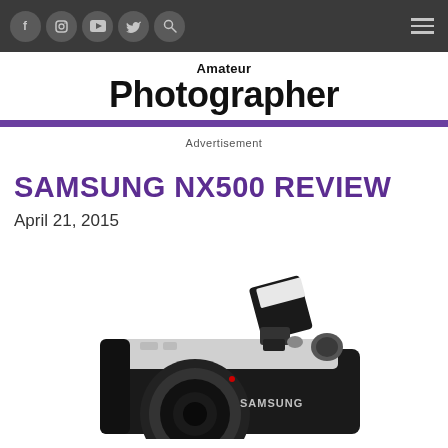Navigation bar with social icons: Facebook, Instagram, YouTube, Twitter, Search, and hamburger menu
Amateur Photographer
Advertisement
SAMSUNG NX500 REVIEW
April 21, 2015
[Figure (photo): Samsung NX500 camera with pop-up flash extended, showing the top and front of the camera body with Samsung branding visible]